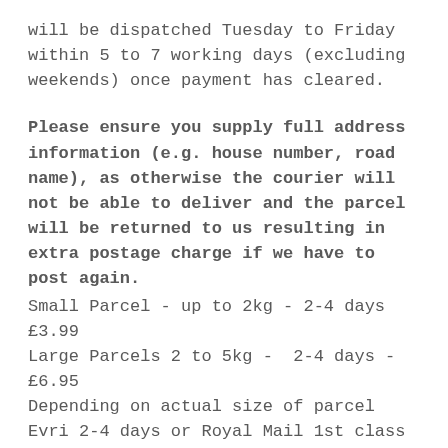will be dispatched Tuesday to Friday within 5 to 7 working days (excluding weekends) once payment has cleared.
Please ensure you supply full address information (e.g. house number, road name), as otherwise the courier will not be able to deliver and the parcel will be returned to us resulting in extra postage charge if we have to post again.
Small Parcel - up to 2kg - 2-4 days £3.99
Large Parcels 2 to 5kg -  2-4 days - £6.95
Depending on actual size of parcel Evri 2-4 days or Royal Mail 1st class (proof of sending available to see) will be chosen. Please contact us if you need a different delivery service due to issues in your area.
For larger orders please allow a couple of extra days